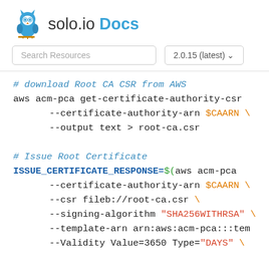solo.io Docs
Search Resources | 2.0.15 (latest)
# download Root CA CSR from AWS
aws acm-pca get-certificate-authority-csr
    --certificate-authority-arn $CAARN \
    --output text > root-ca.csr

# Issue Root Certificate
ISSUE_CERTIFICATE_RESPONSE=$(aws acm-pca
    --certificate-authority-arn $CAARN \
    --csr fileb://root-ca.csr \
    --signing-algorithm "SHA256WITHRSA" \
    --template-arn arn:aws:acm-pca:::tem
    --Validity Value=3650 Type="DAYS" \